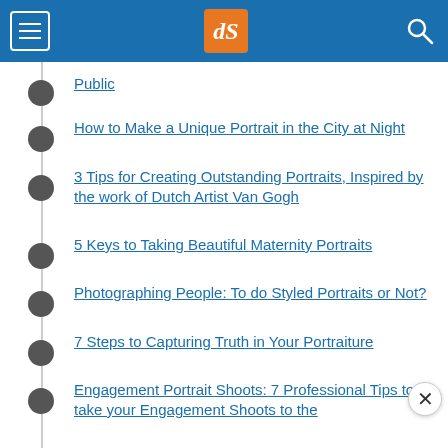dPS navigation bar with hamburger menu, dPS logo, and search icon
Public
How to Make a Unique Portrait in the City at Night
3 Tips for Creating Outstanding Portraits, Inspired by the work of Dutch Artist Van Gogh
5 Keys to Taking Beautiful Maternity Portraits
Photographing People: To do Styled Portraits or Not?
7 Steps to Capturing Truth in Your Portraiture
Engagement Portrait Shoots: 7 Professional Tips to take your Engagement Shoots to the